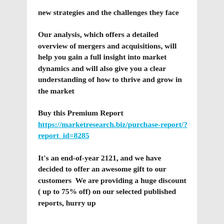new strategies and the challenges they face
Our analysis, which offers a detailed overview of mergers and acquisitions, will help you gain a full insight into market dynamics and will also give you a clear understanding of how to thrive and grow in the market
Buy this Premium Report  https://marketresearch.biz/purchase-report/?report_id=8285
It's an end-of-year 2121, and we have decided to offer an awesome gift to our customers  We are providing a huge discount ( up to 75% off) on our selected published reports, hurry up